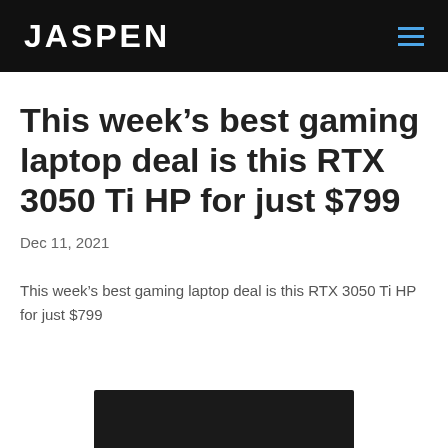JASPEN
This week's best gaming laptop deal is this RTX 3050 Ti HP for just $799
Dec 11, 2021
This week's best gaming laptop deal is this RTX 3050 Ti HP for just $799
[Figure (photo): Partial view of a gaming laptop with dark background, bottom portion visible]